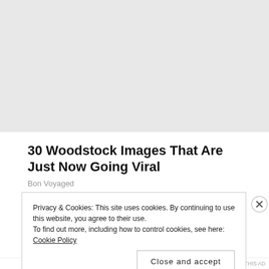[Figure (photo): Large image area at top of article, appears to be a crowd/event photo, mostly light gray placeholder]
30 Woodstock Images That Are Just Now Going Viral
Bon Voyaged
Privacy & Cookies: This site uses cookies. By continuing to use this website, you agree to their use.
To find out more, including how to control cookies, see here: Cookie Policy
Close and accept